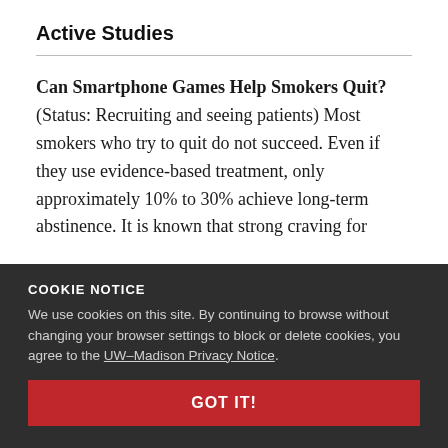Active Studies
Can Smartphone Games Help Smokers Quit? (Status: Recruiting and seeing patients) Most smokers who try to quit do not succeed. Even if they use evidence-based treatment, only approximately 10% to 30% achieve long-term abstinence. It is known that strong craving for cigarettes is a powerful reason many smokers fail. The objective of this pilot research is to determine whether smartphone games can help smokers distract from cravings during a clinic...
COOKIE NOTICE
We use cookies on this site. By continuing to browse without changing your browser settings to block or delete cookies, you agree to the UW–Madison Privacy Notice.
GOT IT!